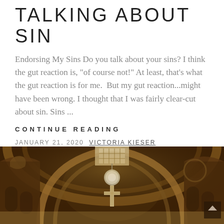TALKING ABOUT SIN
Endorsing My Sins Do you talk about your sins? I think the gut reaction is, “of course not!” At least, that's what the gut reaction is for me.  But my gut reaction...might have been wrong. I thought that I was fairly clear-cut about sin. Sins ...
CONTINUE READING
JANUARY 21, 2020  VICTORIA KIESER
[Figure (photo): Interior of a church showing ornate wooden arched architecture, gothic style carvings with figures, and a hanging cross/chandelier fixture with a lit light. Brown and gold tones with detailed woodwork.]